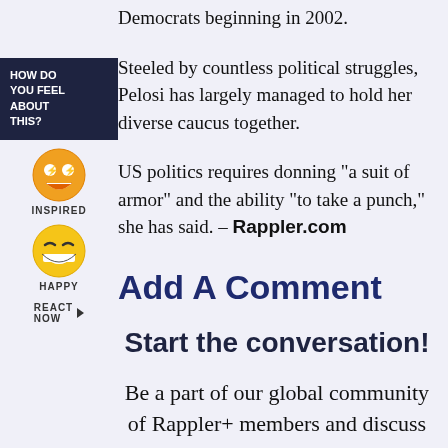Democrats beginning in 2002.
Steeled by countless political struggles, Pelosi has largely managed to hold her diverse caucus together.
US politics requires donning “a suit of armor” and the ability “to take a punch,” she has said. – Rappler.com
Add A Comment
Start the conversation!
Be a part of our global community of Rappler+ members and discuss